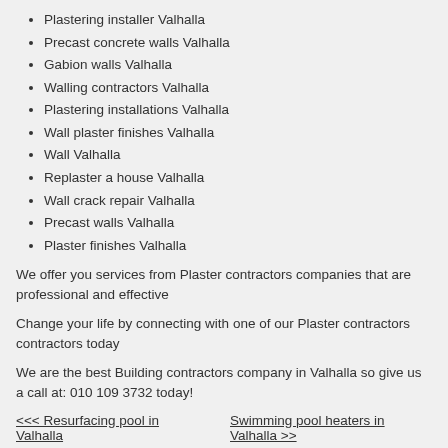Plastering installer Valhalla
Precast concrete walls Valhalla
Gabion walls Valhalla
Walling contractors Valhalla
Plastering installations Valhalla
Wall plaster finishes Valhalla
Wall Valhalla
Replaster a house Valhalla
Wall crack repair Valhalla
Precast walls Valhalla
Plaster finishes Valhalla
We offer you services from Plaster contractors companies that are professional and effective
Change your life by connecting with one of our Plaster contractors contractors today
We are the best Building contractors company in Valhalla so give us a call at: 010 109 3732 today!
<< Resurfacing pool in Valhalla    Swimming pool heaters in Valhalla >>
-> Building contractors in Kelly Ridge
-> Building contractors in Overkruin
-> Building contractors in Driefontein
-> Building contractors in Strubenvale